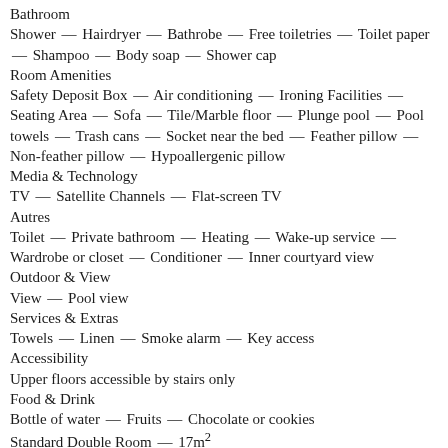Bathroom
Shower — Hairdryer — Bathrobe — Free toiletries — Toilet paper — Shampoo — Body soap — Shower cap
Room Amenities
Safety Deposit Box — Air conditioning — Ironing Facilities — Seating Area — Sofa — Tile/Marble floor — Plunge pool — Pool towels — Trash cans — Socket near the bed — Feather pillow — Non-feather pillow — Hypoallergenic pillow
Media & Technology
TV — Satellite Channels — Flat-screen TV
Autres
Toilet — Private bathroom — Heating — Wake-up service — Wardrobe or closet — Conditioner — Inner courtyard view
Outdoor & View
View — Pool view
Services & Extras
Towels — Linen — Smoke alarm — Key access
Accessibility
Upper floors accessible by stairs only
Food & Drink
Bottle of water — Fruits — Chocolate or cookies
Standard Double Room — 17m²
[Figure (other): Small icon box with an x mark]
1 double bed
Individually decorated with respect to the local architecture and